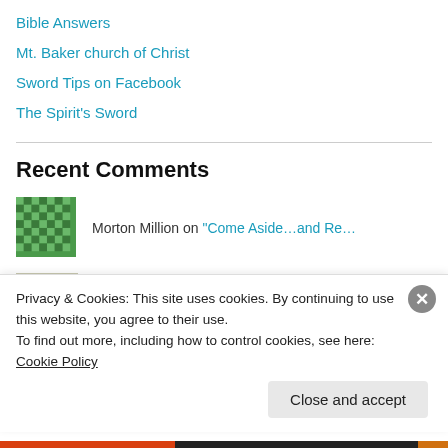Bible Answers
Mt. Baker church of Christ
Sword Tips on Facebook
The Spirit's Sword
Recent Comments
Morton Million on “Come Aside…and Re…
clubschadenfreude on Don't Be A Fool #2457…
Clark Puzhoe on Joseph Exemplifies Forgiveness
Privacy & Cookies: This site uses cookies. By continuing to use this website, you agree to their use.
To find out more, including how to control cookies, see here: Cookie Policy
Close and accept